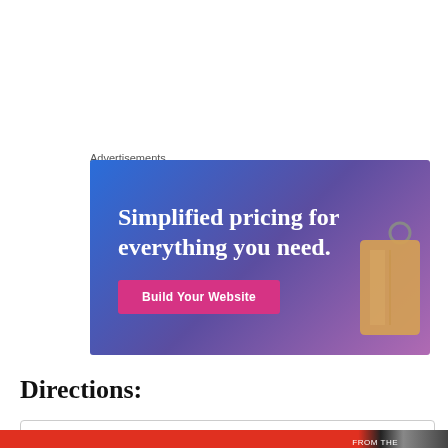Advertisements
[Figure (illustration): Advertisement banner with gradient blue-purple background showing text 'Simplified pricing for everything you need.' with a pink 'Build Your Website' button and a price tag illustration on the right.]
Directions:
Privacy & Cookies: This site uses cookies. By continuing to use this website, you agree to their use.
To find out more, including how to control cookies, see here: Cookie Policy
Close and accept